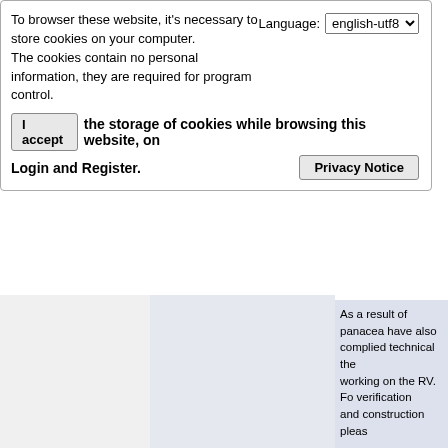To browser these website, it's necessary to store cookies on your computer.
The cookies contain no personal information, they are required for program control.
Language: english-utf8
I accept  the storage of cookies while browsing this website, on Login and Register.
Privacy Notice
As a result of panacea have also
complied technical the
working on the RV. Fo verification
and construction pleas
1)RV energy saving re development<http://pa 20applications%20anc (2MB, PDF)
2)Advanced RV resea
3) RE-OU -v6 <http://p PDF)
The RV is currently an open